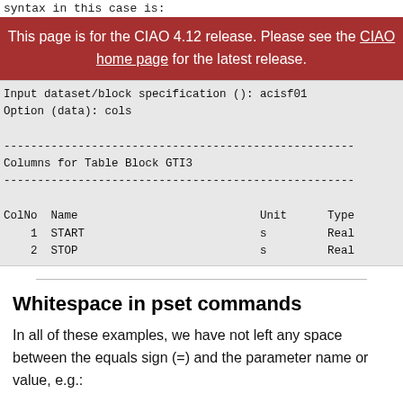syntax in this case is:
This page is for the CIAO 4.12 release. Please see the CIAO home page for the latest release.
Input dataset/block specification (): acisf01
Option (data): cols

----------------------------------------------------
Columns for Table Block GTI3
----------------------------------------------------

ColNo  Name                           Unit      Type
    1  START                          s         Real
    2  STOP                           s         Real
Whitespace in pset commands
In all of these examples, we have not left any space between the equals sign (=) and the parameter name or value, e.g.: